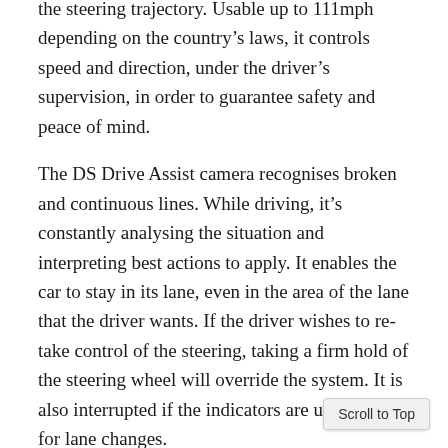the steering trajectory. Usable up to 111mph depending on the country's laws, it controls speed and direction, under the driver's supervision, in order to guarantee safety and peace of mind.
The DS Drive Assist camera recognises broken and continuous lines. While driving, it's constantly analysing the situation and interpreting best actions to apply. It enables the car to stay in its lane, even in the area of the lane that the driver wants. If the driver wishes to re-take control of the steering, taking a firm hold of the steering wheel will override the system. It is also interrupted if the indicators are used, e.g. for lane changes.
Another highlight is DS Park Pilot which can detect a parking place by passing it at speeds up to